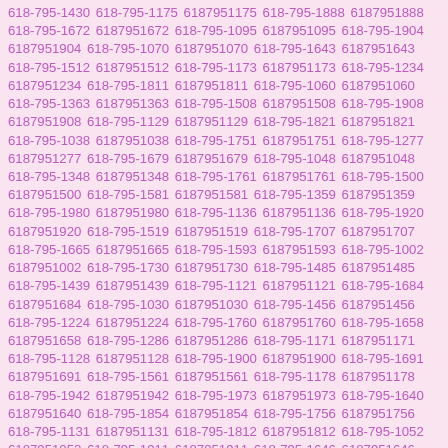618-795-1430 618-795-1175 6187951175 618-795-1888 6187951888 618-795-1672 6187951672 618-795-1095 6187951095 618-795-1904 6187951904 618-795-1070 6187951070 618-795-1643 6187951643 618-795-1512 6187951512 618-795-1173 6187951173 618-795-1234 6187951234 618-795-1811 6187951811 618-795-1060 6187951060 618-795-1363 6187951363 618-795-1508 6187951508 618-795-1908 6187951908 618-795-1129 6187951129 618-795-1821 6187951821 618-795-1038 6187951038 618-795-1751 6187951751 618-795-1277 6187951277 618-795-1679 6187951679 618-795-1048 6187951048 618-795-1348 6187951348 618-795-1761 6187951761 618-795-1500 6187951500 618-795-1581 6187951581 618-795-1359 6187951359 618-795-1980 6187951980 618-795-1136 6187951136 618-795-1920 6187951920 618-795-1519 6187951519 618-795-1707 6187951707 618-795-1665 6187951665 618-795-1593 6187951593 618-795-1002 6187951002 618-795-1730 6187951730 618-795-1485 6187951485 618-795-1439 6187951439 618-795-1121 6187951121 618-795-1684 6187951684 618-795-1030 6187951030 618-795-1456 6187951456 618-795-1224 6187951224 618-795-1760 6187951760 618-795-1658 6187951658 618-795-1286 6187951286 618-795-1171 6187951171 618-795-1128 6187951128 618-795-1900 6187951900 618-795-1691 6187951691 618-795-1561 6187951561 618-795-1178 6187951178 618-795-1942 6187951942 618-795-1973 6187951973 618-795-1640 6187951640 618-795-1854 6187951854 618-795-1756 6187951756 618-795-1131 6187951131 618-795-1812 6187951812 618-795-1052 6187951052 618-795-1911 6187951911 618-795-1646 6187951646 618-795-1824 6187951824 618-795-1400 6187951400 618-795-1498 6187951498 618-795-1126 6187951126 618-795-1085 6187951085